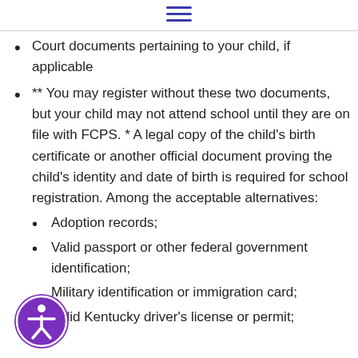Court documents pertaining to your child, if applicable
** You may register without these two documents, but your child may not attend school until they are on file with FCPS. * A legal copy of the child's birth certificate or another official document proving the child's identity and date of birth is required for school registration. Among the acceptable alternatives:
Adoption records;
Valid passport or other federal government identification;
Military identification or immigration card;
Valid Kentucky driver's license or permit;
[Figure (logo): Purple accessibility icon with a person figure inside a circle]